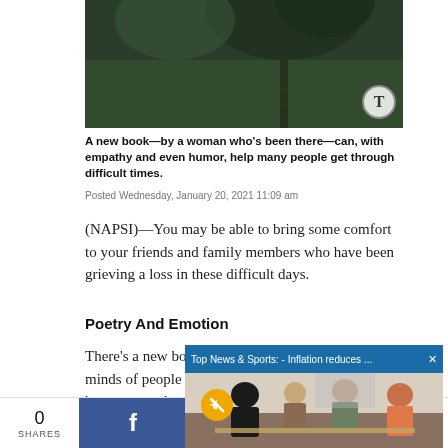[Figure (photo): Outdoor scenic photo with dark green grass and a tree, with a circular T logo watermark in the bottom right corner]
A new book—by a woman who's been there—can, with empathy and even humor, help many people get through difficult times.
Posted Wednesday, January 20, 2021 11:09 am
(NAPSI)—You may be able to bring some comfort to your friends and family members who have been grieving a loss in these difficult days.
Poetry And Emotion
There's a new book that can open the minds of people who have lost their homes, even loved on... Unbearable: A Journe... it was written by a w...
[Figure (screenshot): Overlay video player showing people cooking in a kitchen, with a blue top banner reading 'Top News & Sports: - Inflation reduces ...' and a gold mute button]
0 SHARES  f